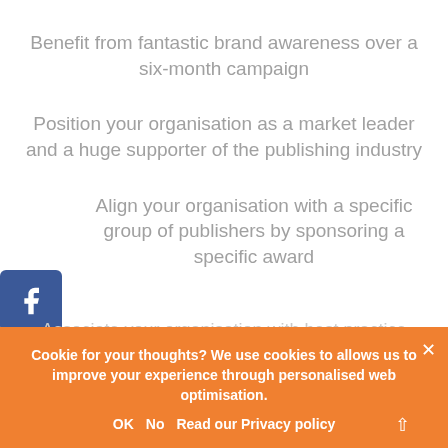Benefit from fantastic brand awareness over a six-month campaign
Position your organisation as a market leader and a huge supporter of the publishing industry
Align your organisation with a specific group of publishers by sponsoring a specific award
Associate your organisation with best practice
Entertain and network with clients in a celebratory
Cookie for your thoughts? We use cookies to allows us to improve your experience through personalised web optimisation.
OK   No   Read our Privacy policy